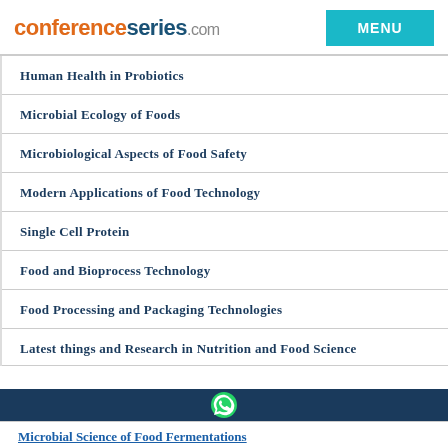conferenceseries.com MENU
Human Health in Probiotics
Microbial Ecology of Foods
Microbiological Aspects of Food Safety
Modern Applications of Food Technology
Single Cell Protein
Food and Bioprocess Technology
Food Processing and Packaging Technologies
Latest things and Research in Nutrition and Food Science
Microbial Science of Food Fermentations